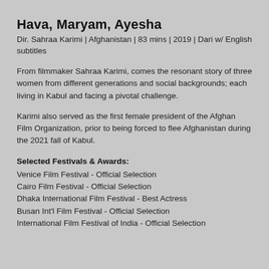Hava, Maryam, Ayesha
Dir. Sahraa Karimi | Afghanistan | 83 mins | 2019 | Dari w/ English subtitles
From filmmaker Sahraa Karimi, comes the resonant story of three women from different generations and social backgrounds; each living in Kabul and facing a pivotal challenge.
Karimi also served as the first female president of the Afghan Film Organization, prior to being forced to flee Afghanistan during the 2021 fall of Kabul.
Selected Festivals & Awards:
Venice Film Festival - Official Selection
Cairo Film Festival - Official Selection
Dhaka International Film Festival - Best Actress
Busan Int'l Film Festival - Official Selection
International Film Festival of India - Official Selection